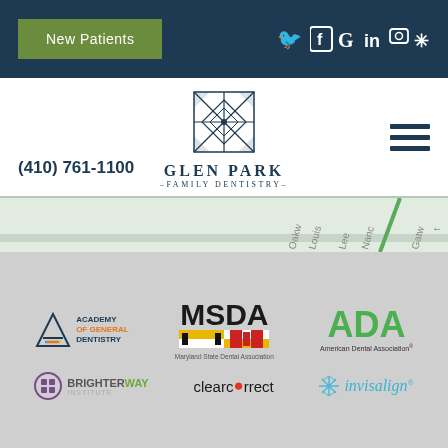New Patients
(410) 761-1100
[Figure (logo): Glen Park Family Dentistry logo with geometric snowflake-style icon and text]
[Figure (map): Street map strip showing road names: Oakw, Louis, Lee, Nanc, Gatw]
[Figure (logo): Academy of General Dentistry logo]
[Figure (logo): MSDA Maryland State Dental Association logo]
[Figure (logo): ADA American Dental Association logo]
[Figure (logo): BrighterWay Institute logo]
[Figure (logo): ClearCorrect logo]
[Figure (logo): Invisalign logo]
Read Our Glen Burnie Dental